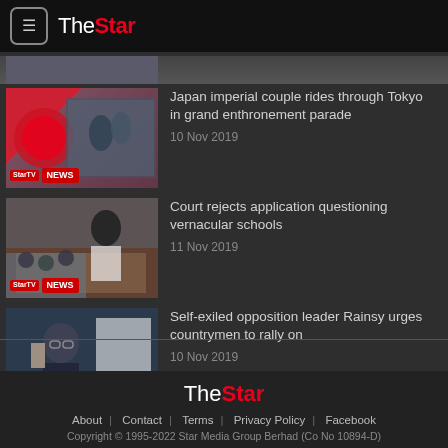TheStar
[Figure (photo): Partial news article thumbnail at top]
Japan imperial couple rides through Tokyo in grand enthronement parade — 10 Nov 2019
Court rejects application questioning vernacular schools — 11 Nov 2019
Self-exiled opposition leader Rainsy urges countrymen to rally on — 10 Nov 2019
TheStar | About | Contact | Terms | Privacy Policy | Facebook | Copyright © 1995-2022 Star Media Group Berhad (Co No 10894-D)